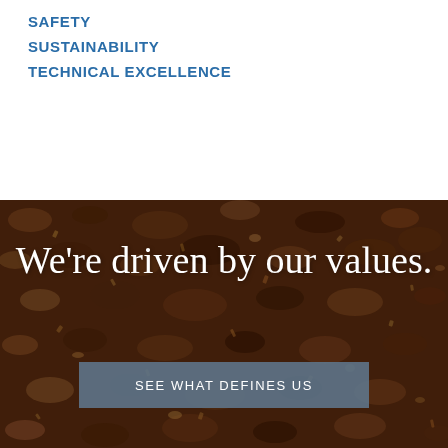SAFETY
SUSTAINABILITY
TECHNICAL EXCELLENCE
[Figure (photo): Close-up photo of dark brown soil/earth texture filling the bottom portion of the page]
We're driven by our values.
SEE WHAT DEFINES US